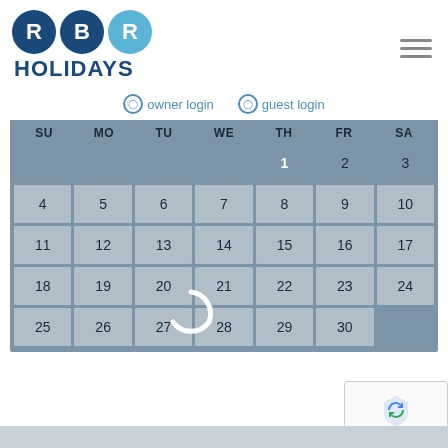[Figure (logo): RBR Holidays logo with three circles (R, B, R) and text HOLIDAYS below]
owner login   guest login
| SU | MO | TU | WE | TH | FR | SA |
| --- | --- | --- | --- | --- | --- | --- |
|  |  |  |  | 1 | 2 | 3 |
| 4 | 5 | 6 | 7 | 8 | 9 | 10 |
| 11 | 12 | 13 | 14 | 15 | 16 | 17 |
| 18 | 19 | 20 | 21 | 22 | 23 | 24 |
| 25 | 26 | 27 | 28 | 29 | 30 |  |